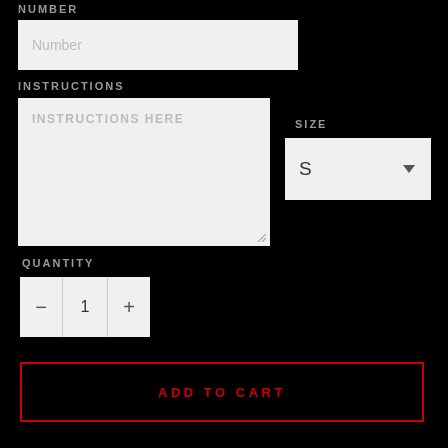NUMBER
Number
INSTRUCTIONS
INSTRUCTIONS HERE
SIZE
S
QUANTITY
- 1 +
ADD TO CART